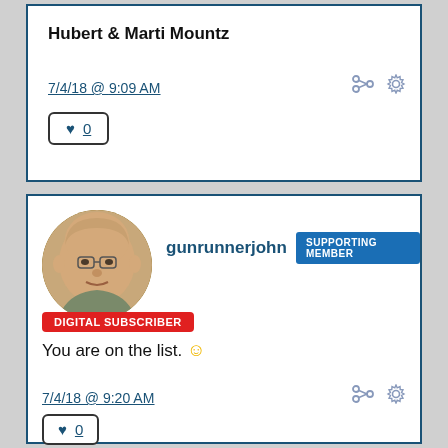Hubert & Marti Mountz
7/4/18 @ 9:09 AM
♥ 0
[Figure (photo): Profile photo of gunrunnerjohn, a middle-aged bald man]
gunrunnerjohn SUPPORTING MEMBER
DIGITAL SUBSCRIBER
You are on the list. 🙂
7/4/18 @ 9:20 AM
♥ 0